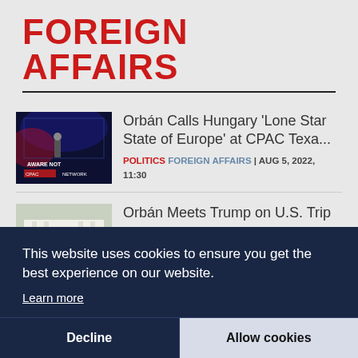FOREIGN AFFAIRS
[Figure (screenshot): Thumbnail of CPAC Texas event with speaker on stage and red/blue lighting]
Orbán Calls Hungary 'Lone Star State of Europe' at CPAC Texa...
POLITICS FOREIGN AFFAIRS | AUG 5, 2022, 11:30
[Figure (photo): Thumbnail of Orbán meeting Trump outdoors, two men in suits shaking hands]
Orbán Meets Trump on U.S. Trip
POLITICS FOREIGN AFFAIRS | AUG 2, 2022
This website uses cookies to ensure you get the best experience on our website.
Learn more
Decline
Allow cookies